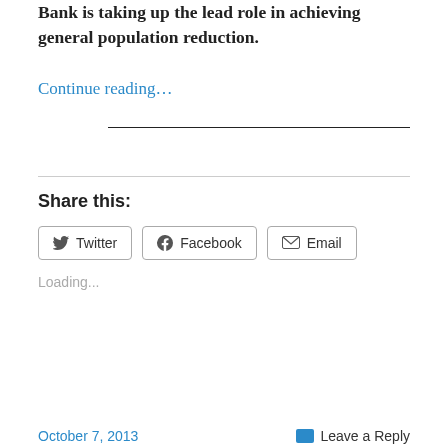Bank is taking up the lead role in achieving general population reduction.
Continue reading…
Share this:
Twitter  Facebook  Email
Loading...
October 7, 2013   Leave a Reply